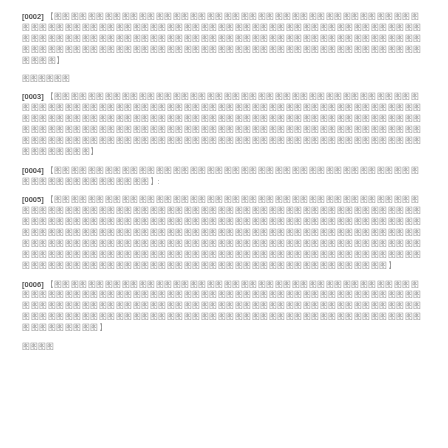[0002] 【redacted Chinese text spanning two lines】
【redacted】
[0003] 【redacted Chinese text spanning three lines】
[0004] 【redacted Chinese text】:
[0005] 【redacted Chinese text spanning seven lines】
[0006] 【redacted Chinese text spanning three lines】
【redacted】